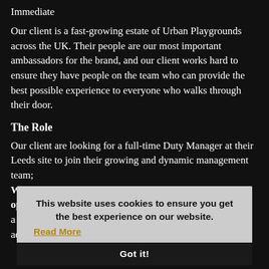Immediate
Our client is a fast-growing estate of Urban Playgrounds across the UK. Their people are our most important ambassadors for the brand, and our client works hard to ensure they have people on the team who can provide the best possible experience to everyone who walks through their door.
The Role
Our client are looking for a full-time Duty Manager at their Leeds site to join their growing and dynamic management team; Working in a fast-paced environment this exciting opportunity would suit a multiskilled duty manager with a background in hospitality, who is looking to develop and advance in their
This website uses cookies to ensure you get the best experience on our website. Read More
Got it!